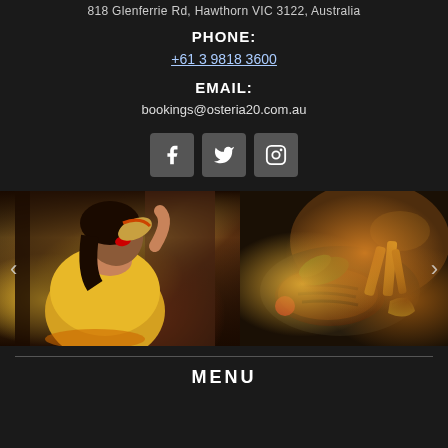818 Glenferrie Rd, Hawthorn VIC 3122, Australia
PHONE:
+61 3 9818 3600
EMAIL:
bookings@osteria20.com.au
[Figure (infographic): Social media icons: Facebook, Twitter, Instagram]
[Figure (photo): Two restaurant photos side by side: left shows a woman in yellow sweater eating pizza, right shows a grilled steak dish with garnishes]
MENU